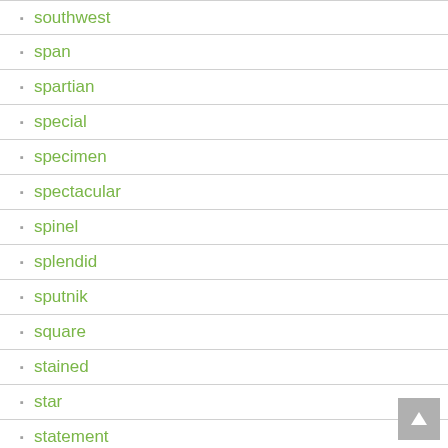southwest
span
spartian
special
specimen
spectacular
spinel
splendid
sputnik
square
stained
star
statement
stephen
sterling